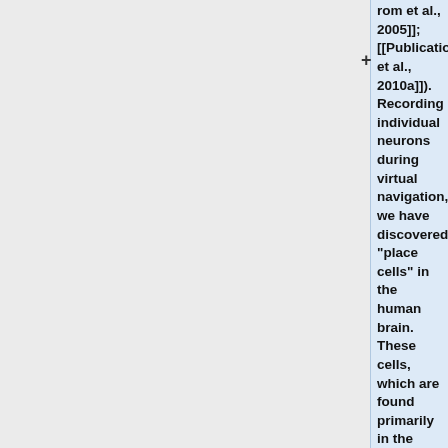rom et al., 2005]]; [[Publications#JacoEtal09|Jacobs et al., 2010a]]). Recording individual neurons during virtual navigation, we have discovered "place cells" in the human brain. These cells, which are found primarily in the human hippocampus, become active when a given spatial location